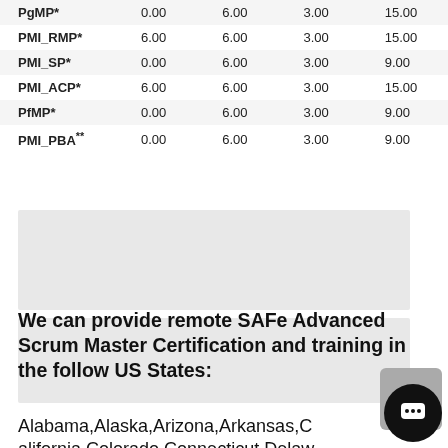|  |  |  |  |  |
| --- | --- | --- | --- | --- |
| PgMP* | 0.00 | 6.00 | 3.00 | 15.00 |
| PMI_RMP* | 6.00 | 6.00 | 3.00 | 15.00 |
| PMI_SP* | 0.00 | 6.00 | 3.00 | 9.00 |
| PMI_ACP* | 6.00 | 6.00 | 3.00 | 15.00 |
| PfMP* | 0.00 | 6.00 | 3.00 | 9.00 |
| PMI_PBA** | 0.00 | 6.00 | 3.00 | 9.00 |
[Figure (other): Two gray placeholder content blocks]
We can provide remote SAFe Advanced Scrum Master Certification and training in the follow US States:
Alabama,Alaska,Arizona,Arkansas,California,Colorado,Connecticut,Delaware,Florida,Georgia,Hawaii,Idaho,Illinois,Indiana,Iowa,Kansas,Kentucky,Louisiana,Maine,Maryland,Massachusetts,Michigan,Minnesota,Mississippi,